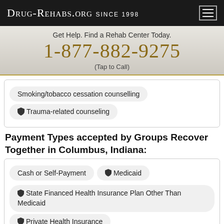Drug-Rehabs.org Since 1998
Get Help. Find a Rehab Center Today.
1-877-882-9275
(Tap to Call)
Smoking/tobacco cessation counselling
Trauma-related counseling
Payment Types accepted by Groups Recover Together in Columbus, Indiana:
Cash or Self-Payment
Medicaid
State Financed Health Insurance Plan Other Than Medicaid
Private Health Insurance